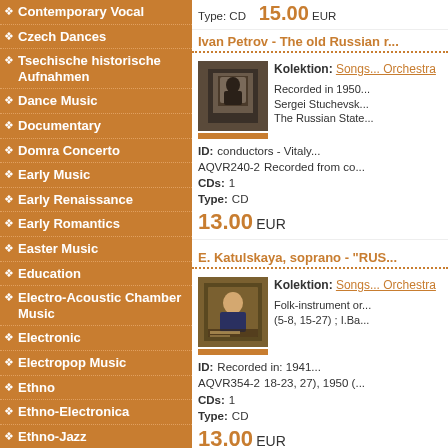Contemporary Vocal
Czech Dances
Tsechische historische Aufnahmen
Dance Music
Documentary
Domra Concerto
Early Music
Early Renaissance
Early Romantics
Easter Music
Education
Electro-Acoustic Chamber Music
Electronic
Electropop Music
Ethno
Ethno-Electronica
Ethno-Jazz
Experimental Rock
Faksimile
Märchen
Favourite Collection
Flute Collection
Folk -Rock
Folk Metal
Type: CD    15.00 EUR
Ivan Petrov - The old Russian r...
Kolektion: Songs... Orchestra
Recorded in 1950... Sergei Stuchevsk... The Russian State... conductors - Vitaly... Recorded from co...
ID: AQVR240-2  CDs: 1  Type: CD
13.00 EUR
E. Katulskaya, soprano - "RUS...
Kolektion: Songs... Orchestra
Folk-instrument or... (5-8, 15-27) ; I.Ba... Recorded in: 1941... 18-23, 27), 1950 (...
ID: AQVR354-2  CDs: 1  Type: CD
13.00 EUR